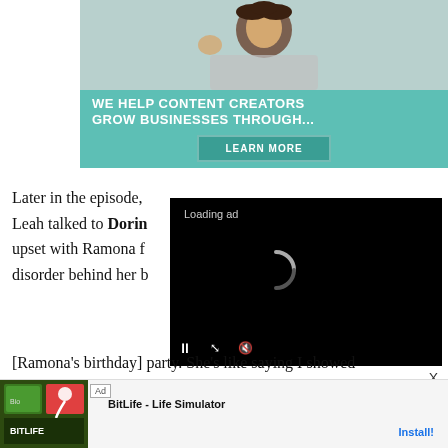[Figure (illustration): Advertisement banner showing a woman laughing with a laptop, teal background with text 'WE HELP CONTENT CREATORS GROW BUSINESSES THROUGH...' and a 'LEARN MORE' button]
Later in the episode, Leah talked to Dorin[a, upset with Ramona f[or keeping her eating] disorder behind her b[ack at the] [Ramona's birthday] party. She's like saying I showed
[Figure (screenshot): Video ad overlay showing black screen with 'Loading ad' text, a loading spinner, and video controls (pause, expand, mute)]
[partial text at bottom of page]
[Figure (illustration): Bottom banner ad for BitLife - Life Simulator with Install button]